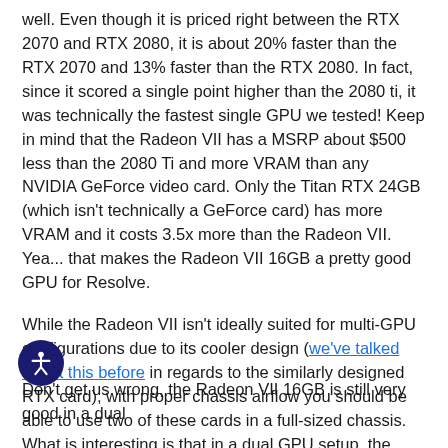well. Even though it is priced right between the RTX 2070 and RTX 2080, it is about 20% faster than the RTX 2070 and 13% faster than the RTX 2080. In fact, since it scored a single point higher than the 2080 ti, it was technically the fastest single GPU we tested! Keep in mind that the Radeon VII has a MSRP about $500 less than the 2080 Ti and more VRAM than any NVIDIA GeForce video card. Only the Titan RTX 24GB (which isn't technically a GeForce card) has more VRAM and it costs 3.5x more than the Radeon VII. Yea... that makes the Radeon VII 16GB a pretty good GPU for Resolve.
While the Radeon VII isn't ideally suited for multi-GPU configurations due to its cooler design (we've talked about this before in regards to the similarly designed RTX card), with proper chassis airflow you should be able to use two of these cards in a full-sized chassis. What is interesting is that in a dual GPU setup, the Radeon VII doesn't scale quite as nicely as the RTX cards. Two Radeon VII are definitely much faster than one, but where the NVIDIA cards saw about a 35-40% performance bump on our hardest grading tests with TNR, the Radeon VII only saw about a 22% improvement.
Don't get us wrong, the Radeon VII 16GB is still very good in a dual configuration since it is a hair faster (and has twice the VRAM) than a pair of slightly more expensive RTX 2080 8GB cards. But even if you were somehow able to get three or four Radeon VII